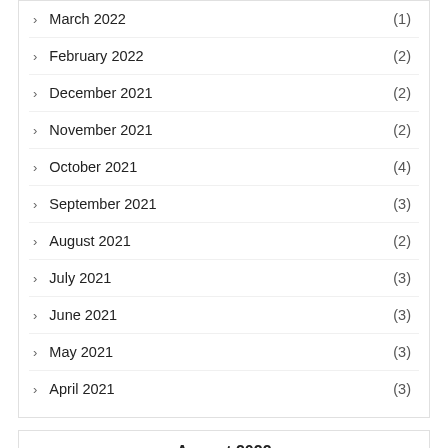March 2022 (1)
February 2022 (2)
December 2021 (2)
November 2021 (2)
October 2021 (4)
September 2021 (3)
August 2021 (2)
July 2021 (3)
June 2021 (3)
May 2021 (3)
April 2021 (3)
August 2022
| M | T | W | T | F | S | S |
| --- | --- | --- | --- | --- | --- | --- |